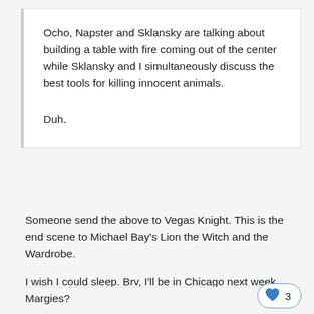Ocho, Napster and Sklansky are talking about building a table with fire coming out of the center while Sklansky and I simultaneously discuss the best tools for killing innocent animals.

Duh.
Someone send the above to Vegas Knight. This is the end scene to Michael Bay's Lion the Witch and the Wardrobe.
I wish I could sleep. Brv, I'll be in Chicago next week. Margies?